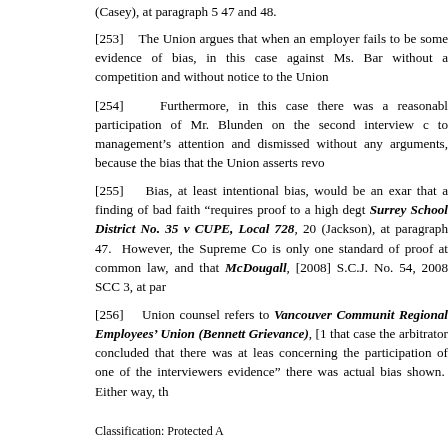(Casey), at paragraph 5 47 and 48.
[253]    The Union argues that when an employer fails to be some evidence of bias, in this case against Ms. Barn without a competition and without notice to the Union
[254]    Furthermore, in this case there was a reasonabl participation of Mr. Blunden on the second interview c to management's attention and dismissed without any arguments, because the bias that the Union asserts revo
[255]    Bias, at least intentional bias, would be an exar that a finding of bad faith "requires proof to a high deg Surrey School District No. 35 v CUPE, Local 728, 20 (Jackson), at paragraph 47. However, the Supreme Co is only one standard of proof at common law, and that McDougall, [2008] S.C.J. No. 54, 2008 SCC 3, at par
[256]    Union counsel refers to Vancouver Communit Regional Employees' Union (Bennett Grievance), [1 that case the arbitrator concluded that there was at leas concerning the participation of one of the interviewers evidence" there was actual bias shown. Either way, th
Classification: Protected A